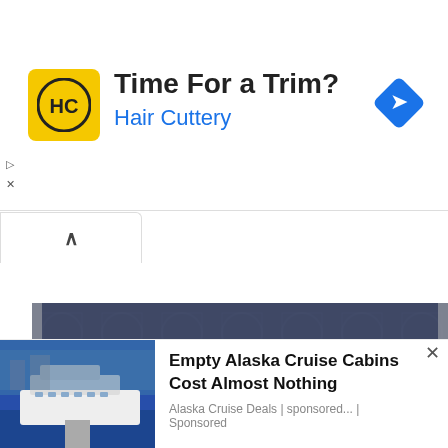[Figure (screenshot): Hair Cuttery advertisement banner with yellow logo icon showing 'HC', headline 'Time For a Trim?' and subtitle 'Hair Cuttery' in blue, with blue diamond navigation arrow on right]
[Figure (photo): Wedding photo of Madeleine and Chris, bride in white gown with veil holding bouquet, groom in black tuxedo, ornate tapestry background, white text overlay reading MADELEINE & CHRIS]
[Figure (screenshot): Advertisement for Empty Alaska Cruise Cabins showing aerial photo of cruise ship docked, with headline 'Empty Alaska Cruise Cabins Cost Almost Nothing' and source 'Alaska Cruise Deals | sponsored... | Sponsored']